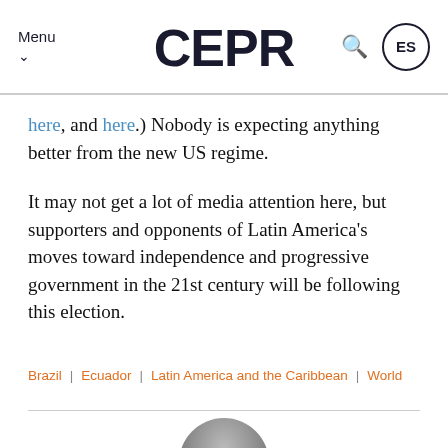Menu  CEPR  ES
here, and here.) Nobody is expecting anything better from the new US regime.
It may not get a lot of media attention here, but supporters and opponents of Latin America's moves toward independence and progressive government in the 21st century will be following this election.
Brazil | Ecuador | Latin America and the Caribbean | World
[Figure (photo): Partial author headshot photo, circular crop, gray tones]